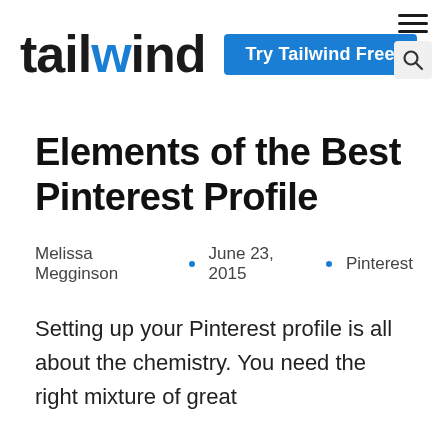tailwind | Try Tailwind Free
Elements of the Best Pinterest Profile
Melissa Megginson · June 23, 2015 · Pinterest
Setting up your Pinterest profile is all about the chemistry. You need the right mixture of great